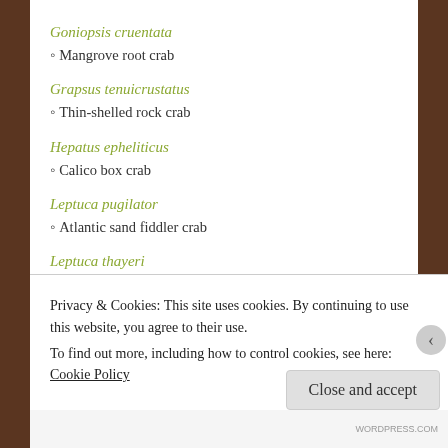Goniopsis cruentata
◦ Mangrove root crab
Grapsus tenuicrustatus
◦ Thin-shelled rock crab
Hepatus epheliticus
◦ Calico box crab
Leptuca pugilator
◦ Atlantic sand fiddler crab
Leptuca thayeri
◦ Atlantic mangrove fiddler crab
Libinia dubia
◦ Longnose spider crab
Privacy & Cookies: This site uses cookies. By continuing to use this website, you agree to their use.
To find out more, including how to control cookies, see here: Cookie Policy
WORDPRESS.COM